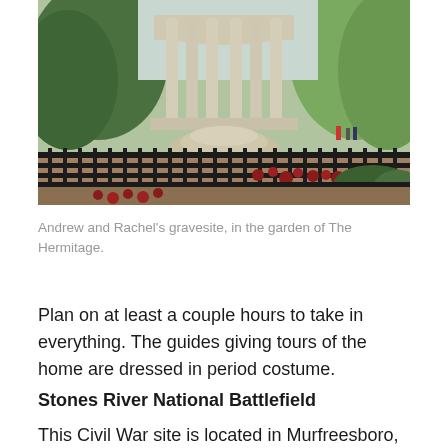[Figure (photo): Photo of Andrew and Rachel Jackson's gravesite at The Hermitage — a classical domed rotunda with tall columns, surrounded by an iron fence, with red flowers and green trees in the background.]
Andrew and Rachel's gravesite, in the garden of The Hermitage.
Plan on at least a couple hours to take in everything. The guides giving tours of the home are dressed in period costume.
Stones River National Battlefield
This Civil War site is located in Murfreesboro, about 35